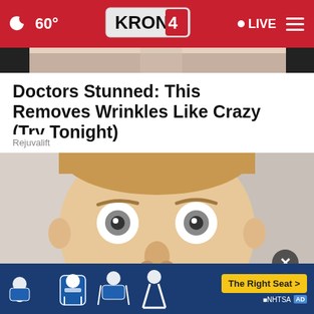60° KRON4 LIVE
[Figure (photo): Partial top of a person's head, cropped at top of page]
Doctors Stunned: This Removes Wrinkles Like Crazy (Try Tonight)
Rejuvalift
[Figure (photo): Close-up selfie of a man with wide eyes and a big smile, looking directly at camera]
[Figure (advertisement): NHTSA car seat safety ad with text 'The Right Seat >' and child seat icons]